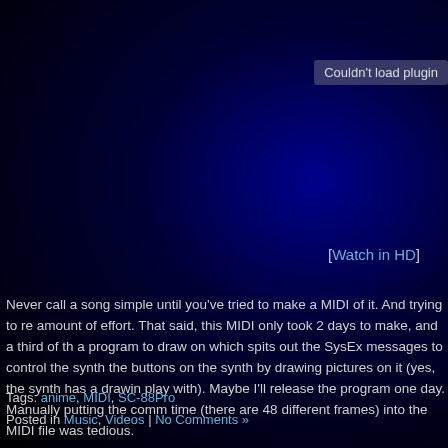[Figure (screenshot): Dark blue/black gradient background area representing a failed video embed with 'Couldn't load plugin' error message in upper right]
[Watch in HD]
Never call a song simple until you've tried to make a MIDI of it. And trying to re amount of effort. That said, this MIDI only took 2 days to make, and a third of th a program to draw on which spits out the SysEx messages to control the synth the buttons on the synth by drawing pictures on it (yes, the synth has a drawin play with). Maybe I'll release the program one day. Manually putting the comm time (there are 48 different frames) into the MIDI file was tedious.
Tags: anime, MIDI, SC-88Pro
Posted in Music, Videos | No Comments »